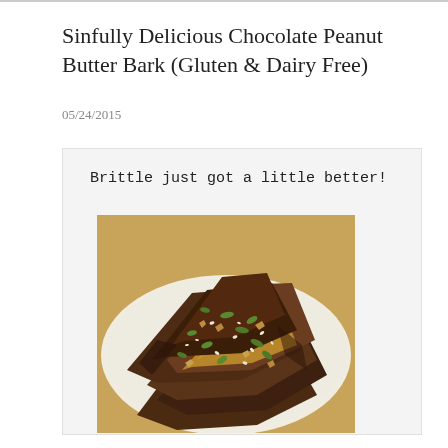Sinfully Delicious Chocolate Peanut Butter Bark (Gluten & Dairy Free)
05/24/2015
Brittle just got a little better!
[Figure (photo): A white plate piled with pieces of chocolate peanut butter bark topped with pumpkin seeds, chopped nuts, and sesame seeds, photographed on a wooden surface.]